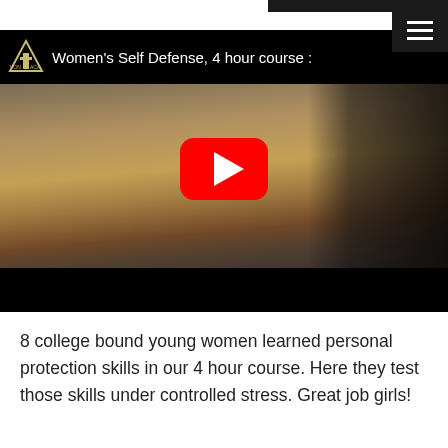[Figure (screenshot): YouTube video thumbnail showing Women's Self Defense 4 hour course — a woman in a white t-shirt wearing boxing gloves faces a person dressed in black protective gear inside a martial arts gym. A red YouTube play button is overlaid in the center. The top bar shows a logo and the title 'Women's Self Defense, 4 hour course'.]
8 college bound young women learned personal protection skills in our 4 hour course.  Here they test those skills under controlled stress.  Great job girls!